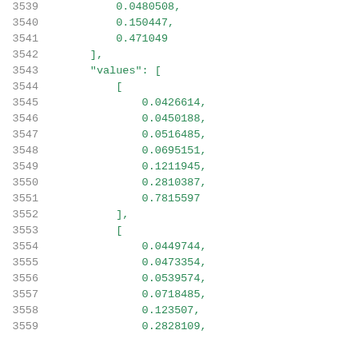Code listing lines 3539-3559 showing numeric array data in JSON format with line numbers